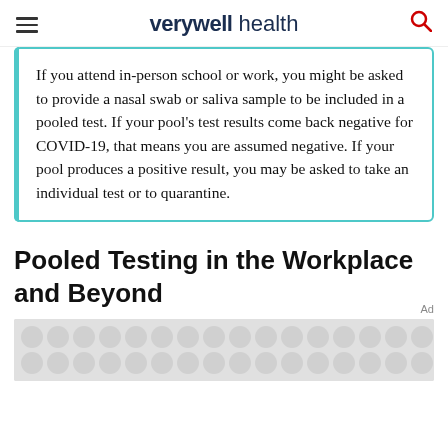verywell health
If you attend in-person school or work, you might be asked to provide a nasal swab or saliva sample to be included in a pooled test. If your pool's test results come back negative for COVID-19, that means you are assumed negative. If your pool produces a positive result, you may be asked to take an individual test or to quarantine.
Pooled Testing in the Workplace and Beyond
[Figure (other): Advertisement placeholder with grey background and decorative circle pattern]